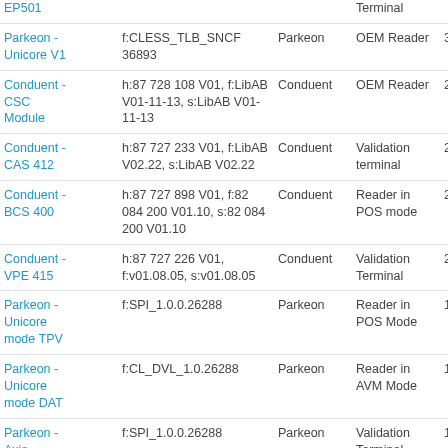| Name | Version | Maker | Type | Date |
| --- | --- | --- | --- | --- |
| EP501 |  |  | Terminal |  |
| Parkeon - Unicore V1 | f:CLESS_TLB_SNCF 36893 | Parkeon | OEM Reader | 30/10/2017 |
| Conduent - CSC Module | h:87 728 108 V01, f:LibAB V01-11-13, s:LibAB V01-11-13 | Conduent | OEM Reader | 27/04/2017 |
| Conduent - CAS 412 | h:87 727 233 V01, f:LibAB V02.22, s:LibAB V02.22 | Conduent | Validation terminal | 27/04/2017 |
| Conduent - BCS 400 | h:87 727 898 V01, f:82 084 200 V01.10, s:82 084 200 V01.10 | Conduent | Reader in POS mode | 27/04/2017 |
| Conduent - VPE 415 | h:87 727 226 V01, f:v01.08.05, s:v01.08.05 | Conduent | Validation Terminal | 20/02/2017 |
| Parkeon - Unicore mode TPV | f:SPI_1.0.0.26288 | Parkeon | Reader in POS Mode | 13/12/2013 |
| Parkeon - Unicore mode DAT | f:CL_DVL_1.0.26288 | Parkeon | Reader in AVM Mode | 13/12/2013 |
| Parkeon - Axio MFRC531 | f:SPI_1.0.0.26288 | Parkeon | Validation Terminal | 13/12/2013 |